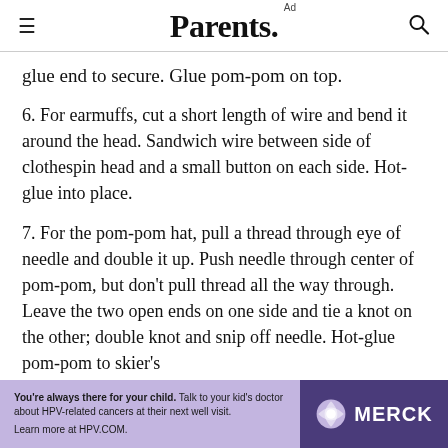Parents.
glue end to secure. Glue pom-pom on top.
6. For earmuffs, cut a short length of wire and bend it around the head. Sandwich wire between side of clothespin head and a small button on each side. Hot-glue into place.
7. For the pom-pom hat, pull a thread through eye of needle and double it up. Push needle through center of pom-pom, but don't pull thread all the way through. Leave the two open ends on one side and tie a knot on the other; double knot and snip off needle. Hot-glue pom-pom to skier's
[Figure (other): Merck advertisement banner: 'You're always there for your child. Talk to your kid's doctor about HPV-related cancers at their next well visit. Learn more at HPV.COM.' with Merck logo on purple background.]